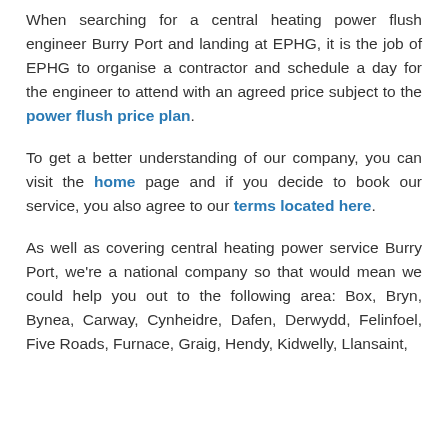When searching for a central heating power flush engineer Burry Port and landing at EPHG, it is the job of EPHG to organise a contractor and schedule a day for the engineer to attend with an agreed price subject to the power flush price plan.
To get a better understanding of our company, you can visit the home page and if you decide to book our service, you also agree to our terms located here.
As well as covering central heating power service Burry Port, we're a national company so that would mean we could help you out to the following area: Box, Bryn, Bynea, Carway, Cynheidre, Dafen, Derwydd, Felinfoel, Five Roads, Furnace, Graig, Hendy, Kidwelly, Llansaint,